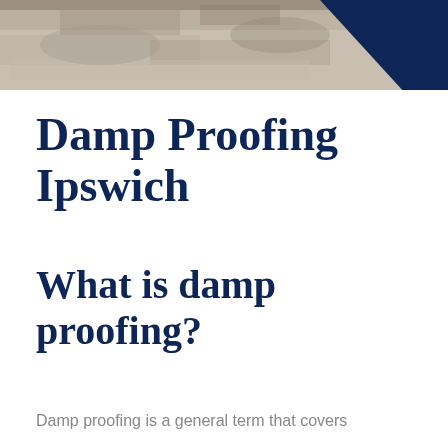[Figure (photo): Top banner photo of a damp/stained wall or ceiling surface in muted grey-brown tones, with a dark navy triangle in the upper-right corner.]
Damp Proofing Ipswich
What is damp proofing?
Damp proofing is a general term that covers